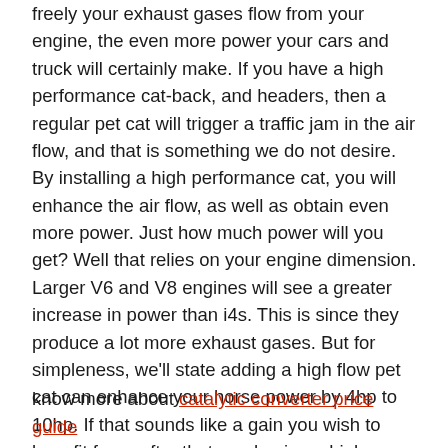freely your exhaust gases flow from your engine, the even more power your cars and truck will certainly make. If you have a high performance cat-back, and headers, then a regular pet cat will trigger a traffic jam in the air flow, and that is something we do not desire. By installing a high performance cat, you will enhance the air flow, as well as obtain even more power. Just how much power will you get? Well that relies on your engine dimension. Larger V6 and V8 engines will see a greater increase in power than i4s. This is since they produce a lot more exhaust gases. But for simpleness, we'll state adding a high flow pet cat can enhance your horse power by 4hp to 10hp. If that sounds like a gain you wish to benefit from, after that purchasing a high circulation pet cat could be the right selection for you.
know more about catalytic converter price guide